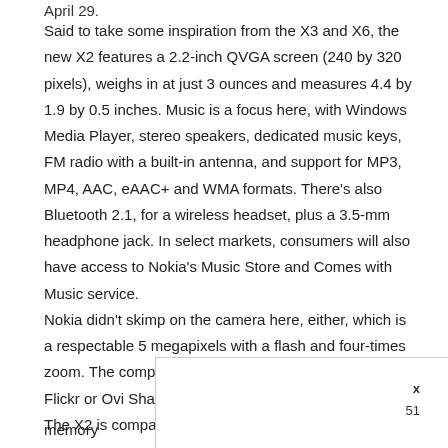April 29.
Said to take some inspiration from the X3 and X6, the new X2 features a 2.2-inch QVGA screen (240 by 320 pixels), weighs in at just 3 ounces and measures 4.4 by 1.9 by 0.5 inches. Music is a focus here, with Windows Media Player, stereo speakers, dedicated music keys, FM radio with a built-in antenna, and support for MP3, MP4, AAC, eAAC+ and WMA formats. There’s also Bluetooth 2.1, for a wireless headset, plus a 3.5-mm headphone jack. In select markets, consumers will also have access to Nokia’s Music Store and Comes with Music service.
Nokia didn’t skimp on the camera here, either, which is a respectable 5 megapixels with a flash and four-times zoom. The company said it is easy to share photos on Flickr or Ovi Share via Bluetooth.
The X2 is compatible with quad-band GSM 850/900
memory